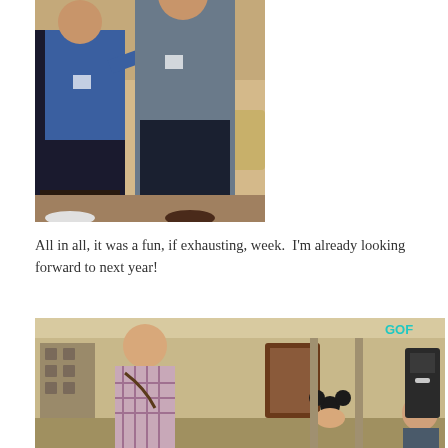[Figure (photo): Two people standing together indoors, one in a blue sweater and one in a gray shirt, with a hotel/conference lobby background. A third partial figure visible on the left.]
All in all, it was a fun, if exhausting, week.  I'm already looking forward to next year!
[Figure (photo): Conference lobby scene with a bald man in a plaid shirt holding something, a person wearing Mickey Mouse ears seated, another person walking in the background, and an older man on the right. A 'GOF' watermark is visible top right.]